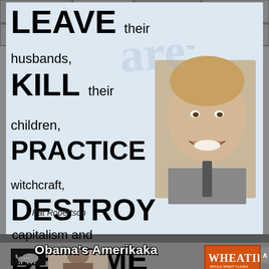[Figure (photo): Top meme card on stone wall background with text quote attributed to Pat Robertson, alongside a drawn portrait of an older man in suit and tie. Text reads: LEAVE their husbands, KILL their children, PRACTICE witchcraft, DESTROY capitalism and BECOME lesbians. - Pat Robertson]
[Figure (photo): Bottom section showing 'Obama's Amerikaka' text overlay on stone background, with a photo of a person, a Wheaties cereal box, and a small Republican elephant logo on black background.]